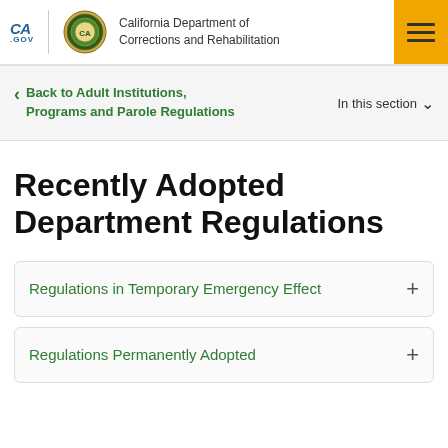California Department of Corrections and Rehabilitation
Back to Adult Institutions, Programs and Parole Regulations
In this section
Recently Adopted Department Regulations
Regulations in Temporary Emergency Effect +
Regulations Permanently Adopted +